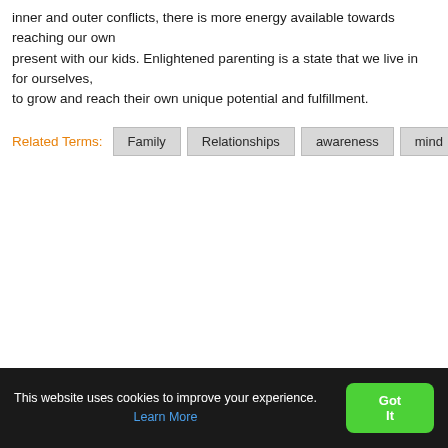inner and outer conflicts, there is more energy available towards reaching our own potential and being present with our kids. Enlightened parenting is a state that we live in for ourselves, and for our kids to grow and reach their own unique potential and fulfillment.
Related Terms: Family  Relationships  awareness  mind  parenting
This website uses cookies to improve your experience. Learn More